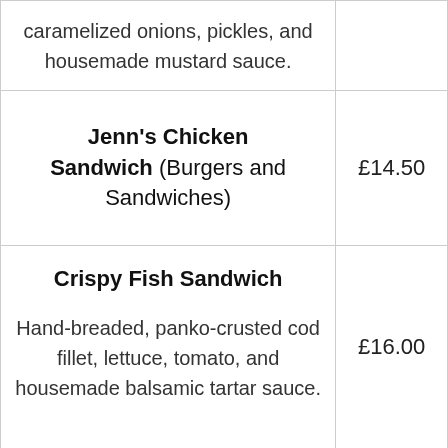| Item | Price |
| --- | --- |
| caramelized onions, pickles, and housemade mustard sauce. |  |
| Jenn's Chicken Sandwich (Burgers and Sandwiches) | £14.50 |
| Crispy Fish Sandwich

Hand-breaded, panko-crusted cod fillet, lettuce, tomato, and housemade balsamic tartar sauce. | £16.00 |